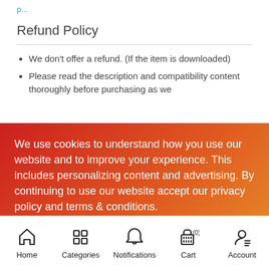Refund Policy
We don't offer a refund. (If the item is downloaded)
Please read the description and compatibility content thoroughly before purchasing as we
We use cookies to understand how you use our website and to improve your experience. This includes personalizing content and advertising. By continuing to use our website accept our privacy policy and terms & conditions.
I agree
Home  Categories  Notifications  Cart (0)  Account